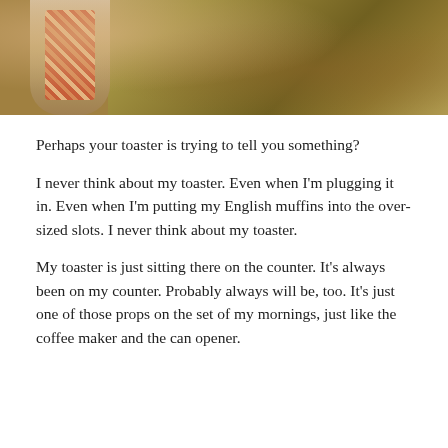[Figure (photo): A photograph showing two people embracing outdoors, one wearing a red/orange plaid flannel shirt, with a warm golden-toned field or meadow in the background.]
Perhaps your toaster is trying to tell you something?
I never think about my toaster. Even when I’m plugging it in. Even when I’m putting my English muffins into the over-sized slots. I never think about my toaster.
My toaster is just sitting there on the counter. It’s always been on my counter. Probably always will be, too. It’s just one of those props on the set of my mornings, just like the coffee maker and the can opener.